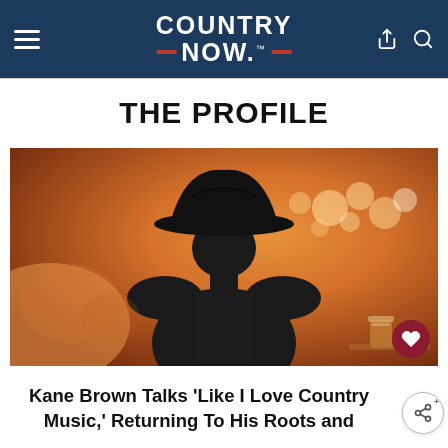COUNTRY NOW
THE PROFILE
[Figure (photo): Silhouette of a person wearing a cowboy hat and dark jacket, viewed from behind against a warm orange-lit stage background with bokeh lights and a drink on a surface in the lower right]
Kane Brown Talks ‘Like I Love Country Music,’ Returning To His Roots and